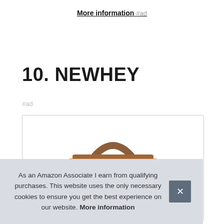More information #ad
10. NEWHEY
#ad
[Figure (photo): Product photo of a NEWHEY bag (leather briefcase/handbag with brown handle) shown in a bordered product box]
As an Amazon Associate I earn from qualifying purchases. This website uses the only necessary cookies to ensure you get the best experience on our website. More information